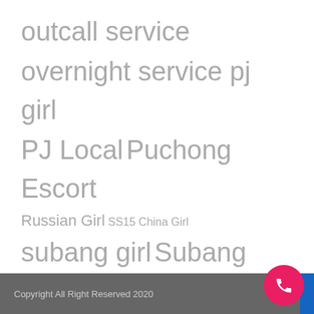outcall service
overnight service pj girl
PJ Local Puchong Escort
Russian Girl SS15 China Girl
subang girl Subang Jaya
Taiwan Escort Thailand Girl
USJ Escort Vietnam Freelance
Vietnam Girl Young Cute Girl
Copyright All Right Reserved 2020